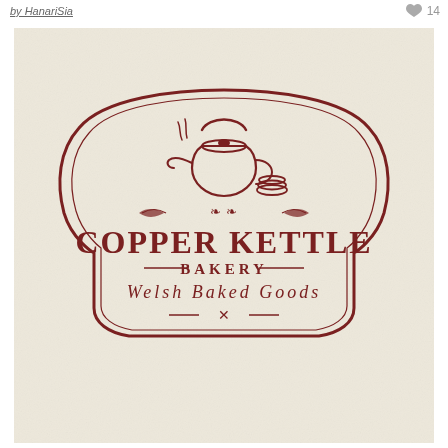by HanariSia   14
[Figure (logo): Copper Kettle Bakery logo on cream/beige textured background. Vintage-style badge/shield shape with a hand-drawn kettle and baked goods illustration at top. Text reads: COPPER KETTLE BAKERY / Welsh Baked Goods, with decorative flourishes and dividers. All in dark reddish-brown color.]